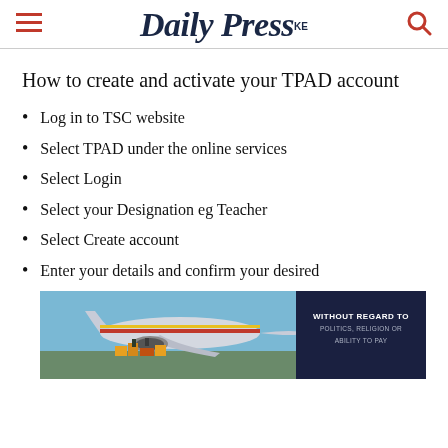Daily Press KE
How to create and activate your TPAD account
Log in to TSC website
Select TPAD under the online services
Select Login
Select your Designation eg Teacher
Select Create account
Enter your details and confirm your desired
[Figure (photo): Advertisement banner showing an airplane being loaded with cargo, with text 'WITHOUT REGARD TO POLITICS, RELIGION OR ABILITY TO PAY']